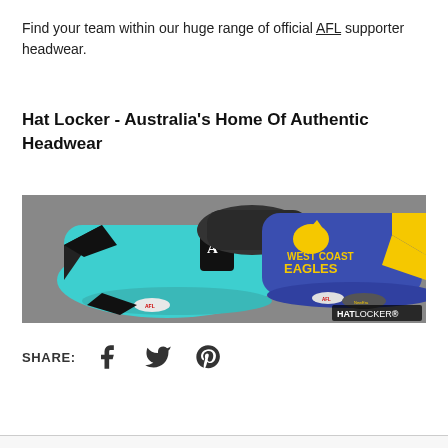Find your team within our huge range of official AFL supporter headwear.
Hat Locker - Australia's Home Of Authentic Headwear
[Figure (photo): Two AFL supporter caps – a teal Port Adelaide cap and a blue/yellow West Coast Eagles cap – displayed on a grey surface, with Hat Locker branding in the bottom right corner.]
SHARE: [Facebook] [Twitter] [Pinterest]